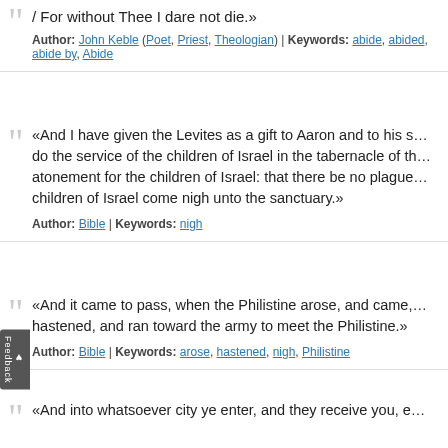/ For without Thee I dare not die.»
Author: John Keble (Poet, Priest, Theologian) | Keywords: abide, abided, abide by, Abide
«And I have given the Levites as a gift to Aaron and to his s… do the service of the children of Israel in the tabernacle of th… atonement for the children of Israel: that there be no plague… children of Israel come nigh unto the sanctuary.»
Author: Bible | Keywords: nigh
«And it came to pass, when the Philistine arose, and came,… hastened, and ran toward the army to meet the Philistine.»
Author: Bible | Keywords: arose, hastened, nigh, Philistine
«And into whatsoever city ye enter, and they receive you, e…